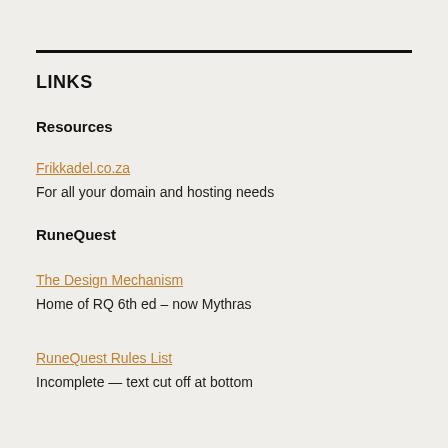LINKS
Resources
Frikkadel.co.za
For all your domain and hosting needs
RuneQuest
The Design Mechanism
Home of RQ 6th ed – now Mythras
RuneQuest Rules List
Incomplete — text cut off at bottom